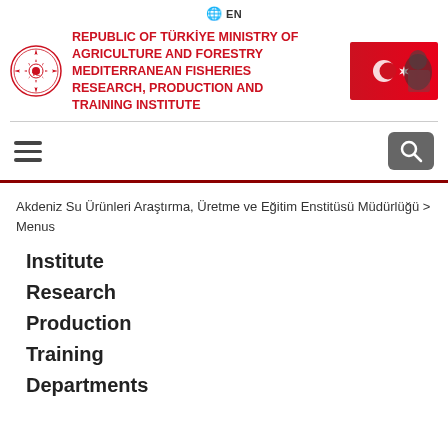🌐 EN
REPUBLIC OF TÜRKİYE MINISTRY OF AGRICULTURE AND FORESTRY MEDITERRANEAN FISHERIES RESEARCH, PRODUCTION AND TRAINING INSTITUTE
Akdeniz Su Ürünleri Araştırma, Üretme ve Eğitim Enstitüsü Müdürlüğü > Menus
Institute
Research
Production
Training
Departments